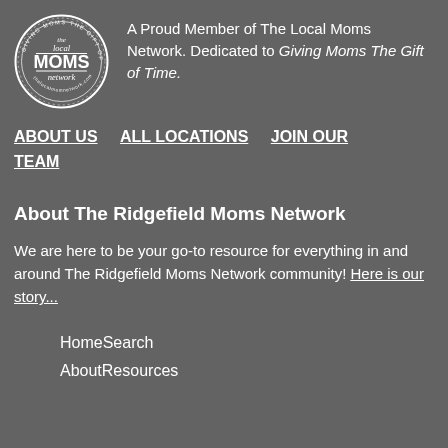[Figure (logo): The Local Moms Network circular logo with text 'Giving Moms The Gift of Time']
A Proud Member of The Local Moms Network. Dedicated to Giving Moms The Gift of Time.
ABOUT US
ALL LOCATIONS
JOIN OUR TEAM
About The Ridgefield Moms Network
We are here to be your go-to resource for everything in and around The Ridgefield Moms Network community! Here is our story...
Home
Search
About
Resources